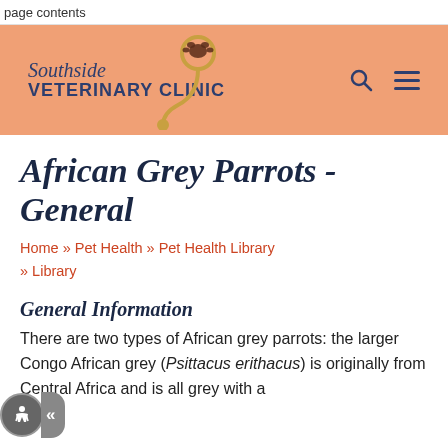page contents
[Figure (logo): Southside Veterinary Clinic logo with stethoscope and paw print on orange/salmon banner background, with search and hamburger menu icons]
African Grey Parrots - General
Home » Pet Health » Pet Health Library » Library
General Information
There are two types of African grey parrots: the larger Congo African grey (Psittacus erithacus) is originally from Central Africa and is all grey with a